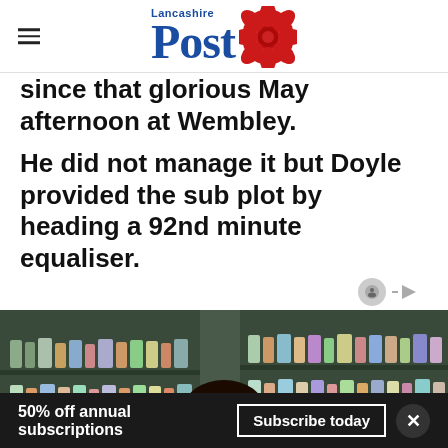Lancashire Post
since that glorious May afternoon at Wembley.
He did not manage it but Doyle provided the sub plot by heading a 92nd minute equaliser.
[Figure (photo): Woman in white coat smiling in a pharmacy/supplement store with shelves of bottles in the background]
50% off annual subscriptions  Subscribe today